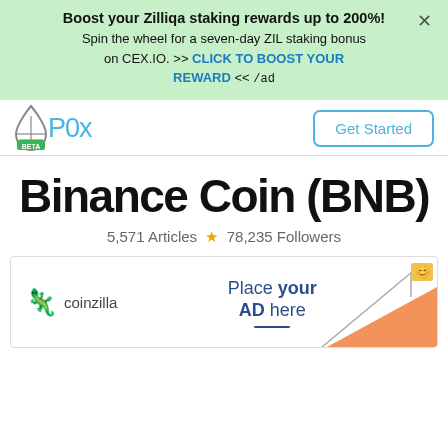Boost your Zilliqa staking rewards up to 200%! Spin the wheel for a seven-day ZIL staking bonus on CEX.IO. >> CLICK TO BOOST YOUR REWARD << /ad
[Figure (logo): P0x beta logo with water drop icon and Get Started button]
Binance Coin (BNB)
5,571 Articles ★ 78,235 Followers
[Figure (infographic): Coinzilla advertisement banner: Place your AD here]